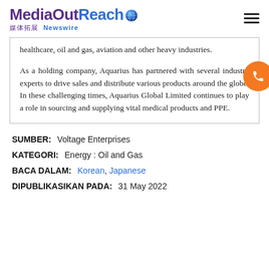MediaOutReach 媒体拓展 Newswire
healthcare, oil and gas, aviation and other heavy industries.

As a holding company, Aquarius has partnered with several industry experts to drive sales and distribute various products around the globe. In these challenging times, Aquarius Global Limited continues to play a role in sourcing and supplying vital medical products and PPE.
SUMBER: Voltage Enterprises
KATEGORI: Energy : Oil and Gas
BACA DALAM: Korean, Japanese
DIPUBLIKASIKAN PADA: 31 May 2022